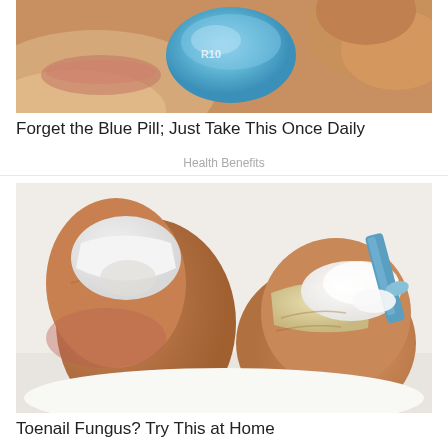[Figure (photo): Close-up stylized photo of a blue pill or capsule near a mouth, health supplement advertisement image]
Forget the Blue Pill; Just Take This Once Daily
Health Benefits
[Figure (photo): Close-up stylized photo of toenails being treated with a white cream applied by a tool, toenail fungus treatment image]
Toenail Fungus? Try This at Home